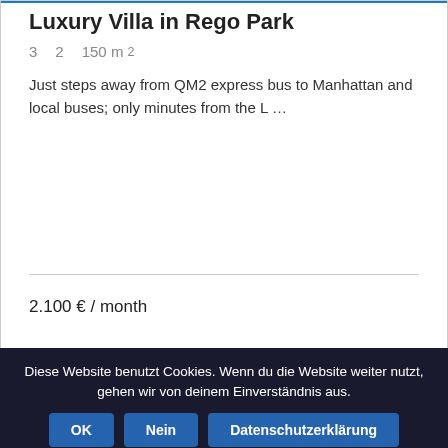Luxury Villa in Rego Park
3   2   150 m²
Just steps away from QM2 express bus to Manhattan and local buses; only minutes from the L …
2.100 € / month
Diese Website benutzt Cookies. Wenn du die Website weiter nutzt, gehen wir von deinem Einverständnis aus.
OK  Nein  Datenschutzerklärung